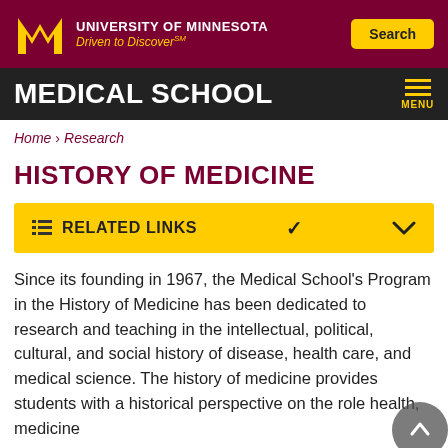[Figure (logo): University of Minnesota logo with M mark, text 'University of Minnesota Driven to Discover' and Search button]
MEDICAL SCHOOL
Home › Research
HISTORY OF MEDICINE
RELATED LINKS
Since its founding in 1967, the Medical School's Program in the History of Medicine has been dedicated to research and teaching in the intellectual, political, cultural, and social history of disease, health care, and medical science. The history of medicine provides students with a historical perspective on the role health, medicine